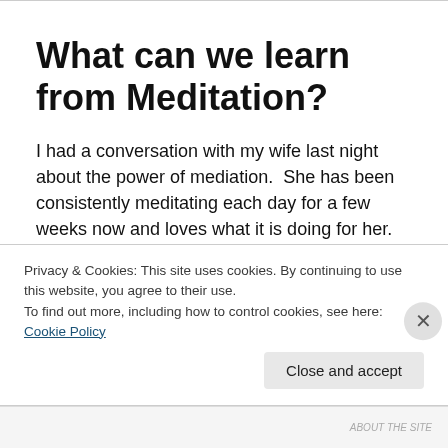What can we learn from Meditation?
I had a conversation with my wife last night about the power of mediation.  She has been consistently meditating each day for a few weeks now and loves what it is doing for her.
I have taken time to meditate consistently in the past, but haven't done it for a while.  So, in the spirit of improving
Privacy & Cookies: This site uses cookies. By continuing to use this website, you agree to their use.
To find out more, including how to control cookies, see here: Cookie Policy